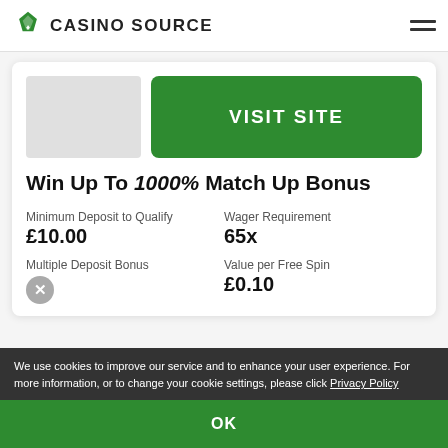CASINO SOURCE
[Figure (logo): Casino Source logo with green diamond/gem icon and text CASINO SOURCE]
[Figure (illustration): Gray placeholder rectangle for casino logo]
VISIT SITE
Win Up To 1000% Match Up Bonus
Minimum Deposit to Qualify
£10.00
Wager Requirement
65x
Multiple Deposit Bonus
[Figure (illustration): Gray circle with X icon indicating no multiple deposit bonus]
Value per Free Spin
£0.10
Payment Methods
[Figure (illustration): Payment method icons: PayPal, VISA, Mastercard, American Express]
Casino Games
500
Mobile Games
Live Games
We use cookies to improve our service and to enhance your user experience. For more information, or to change your cookie settings, please click Privacy Policy
OK